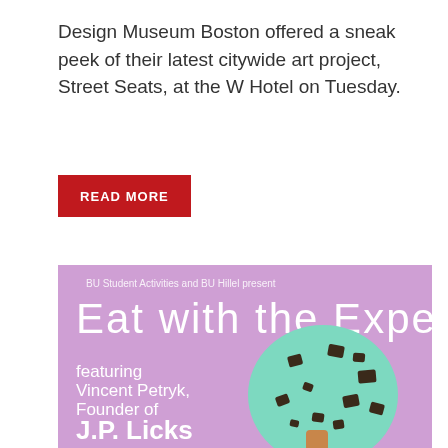Design Museum Boston offered a sneak peek of their latest citywide art project, Street Seats, at the W Hotel on Tuesday.
READ MORE
[Figure (illustration): Promotional poster with lavender/mauve background. Text reads: 'BU Student Activities and BU Hillel present / Eat with the Expert / featuring Vincent Petryk, Founder of / J.P. Licks'. Features an illustration of a mint chocolate chip ice cream bar/popsicle.]